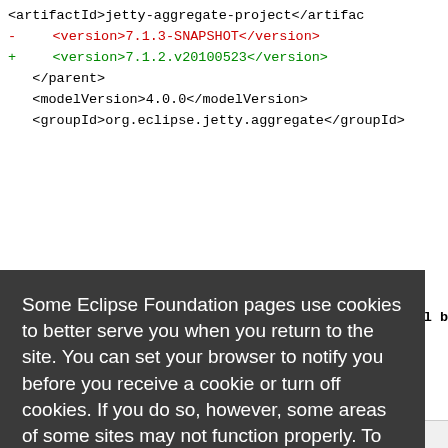<artifactId>jetty-aggregate-project</artifactId>
- <version>7.1.3-SNAPSHOT</version>
+ <version>7.1.2.v20100523</version>
</parent>
<modelVersion>4.0.0</modelVersion>
<groupId>org.eclipse.jetty.aggregate</groupId>
pom.xml b
Some Eclipse Foundation pages use cookies to better serve you when you return to the site. You can set your browser to notify you before you receive a cookie or turn off cookies. If you do so, however, some areas of some sites may not function properly. To read Eclipse Foundation Privacy Policy
click here.
Decline
Allow cookies
--- a/jetty-aggregate/jetty-server/pom.xml